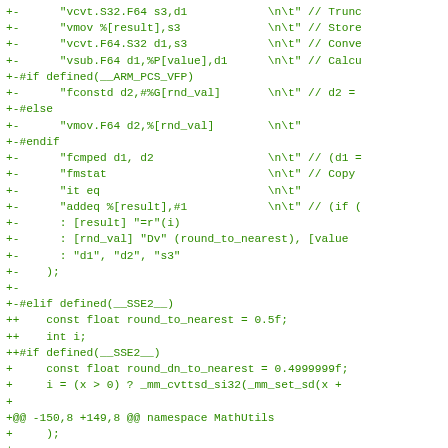Code diff showing assembly and C++ code modifications for ARM and SSE2 floating point rounding